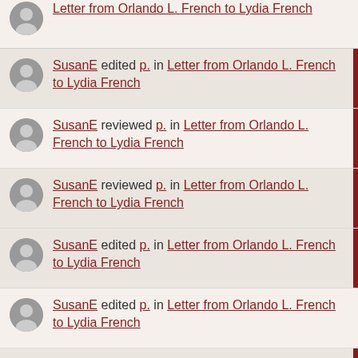SusanE edited p. in Letter from Orlando L. French to Lydia French
SusanE reviewed p. in Letter from Orlando L. French to Lydia French
SusanE reviewed p. in Letter from Orlando L. French to Lydia French
SusanE edited p. in Letter from Orlando L. French to Lydia French
SusanE edited p. in Letter from Orlando L. French to Lydia French
SusanE edited p. in Letter from Orlando L. French to Lydia French
SusanE edited p. in Letter from Orlando L. French to Lydia French